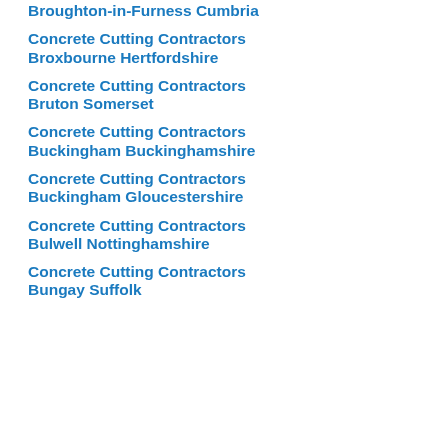Broughton-in-Furness Cumbria
Concrete Cutting Contractors Broxbourne Hertfordshire
Concrete Cutting Contractors Bruton Somerset
Concrete Cutting Contractors Buckingham Buckinghamshire
Concrete Cutting Contractors Buckingham Gloucestershire
Concrete Cutting Contractors Bulwell Nottinghamshire
Concrete Cutting Contractors Bungay Suffolk